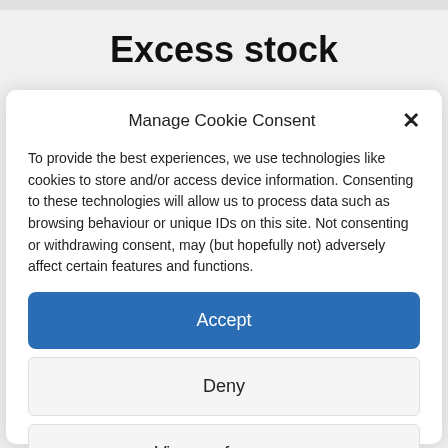Excess stock
Manage Cookie Consent
To provide the best experiences, we use technologies like cookies to store and/or access device information. Consenting to these technologies will allow us to process data such as browsing behaviour or unique IDs on this site. Not consenting or withdrawing consent, may (but hopefully not) adversely affect certain features and functions.
Accept
Deny
View preferences
Cookie Policy   Privacy Statement